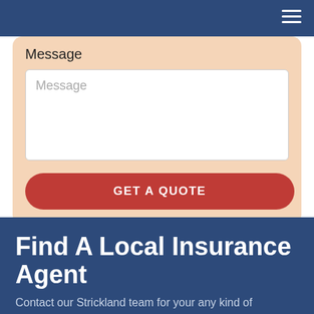Message
Message
GET A QUOTE
Find A Local Insurance Agent
Contact our Strickland team for your any kind of healthcare query. Our well-trained, experienced